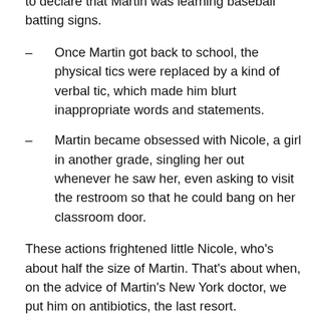to declare that Martin was learning baseball batting signs.
– Once Martin got back to school, the physical tics were replaced by a kind of verbal tic, which made him blurt inappropriate words and statements.
– Martin became obsessed with Nicole, a girl in another grade, singling her out whenever he saw her, even asking to visit the restroom so that he could bang on her classroom door.
These actions frightened little Nicole, who's about half the size of Martin. That's about when, on the advice of Martin's New York doctor, we put him on antibiotics, the last resort. (Antibiotics may bring a PANS flare under control, but they also decimate gut bacteria.) Eight weeks after we started antibiotics, I told you everything was